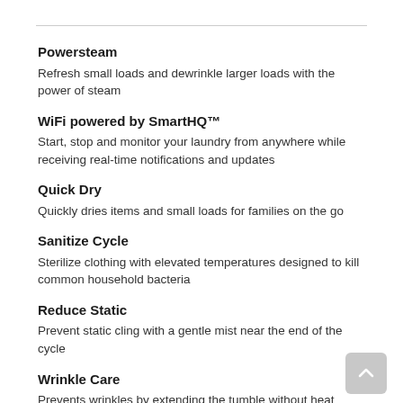Powersteam
Refresh small loads and dewrinkle larger loads with the power of steam
WiFi powered by SmartHQ™
Start, stop and monitor your laundry from anywhere while receiving real-time notifications and updates
Quick Dry
Quickly dries items and small loads for families on the go
Sanitize Cycle
Sterilize clothing with elevated temperatures designed to kill common household bacteria
Reduce Static
Prevent static cling with a gentle mist near the end of the cycle
Wrinkle Care
Prevents wrinkles by extending the tumble without heat